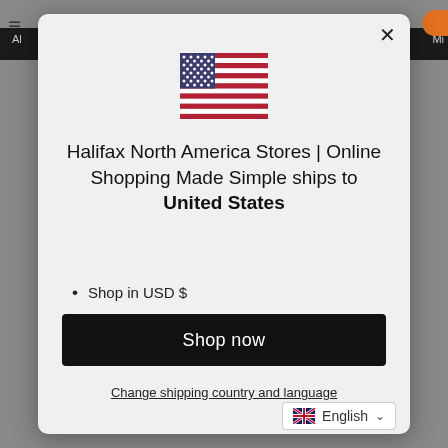[Figure (illustration): US flag SVG illustration]
Halifax North America Stores | Online Shopping Made Simple ships to United States
Shop in USD $
Get shipping options for United States
Language set to English
Shop now
Change shipping country and language
English